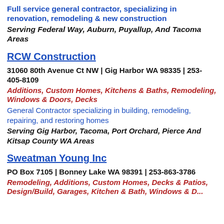Full service general contractor, specializing in renovation, remodeling & new construction
Serving Federal Way, Auburn, Puyallup, And Tacoma Areas
RCW Construction
31060 80th Avenue Ct NW | Gig Harbor WA 98335 | 253-405-8109
Additions, Custom Homes, Kitchens & Baths, Remodeling, Windows & Doors, Decks
General Contractor specializing in building, remodeling, repairing, and restoring homes
Serving Gig Harbor, Tacoma, Port Orchard, Pierce And Kitsap County WA Areas
Sweatman Young Inc
PO Box 7105 | Bonney Lake WA 98391 | 253-863-3786
Remodeling, Additions, Custom Homes, Decks & Patios, Design/Build, Garages, Kitchen & Bath, Windows & Doors